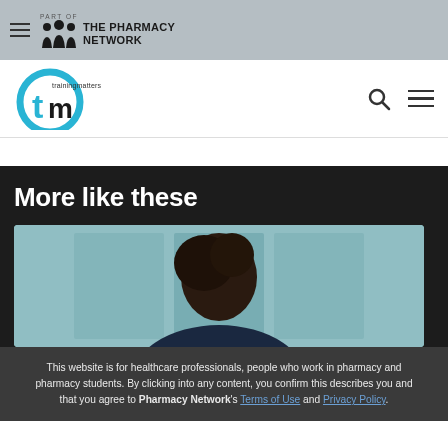PART OF THE PHARMACY NETWORK
[Figure (logo): Training Matters (tm) logo with circular blue icon]
More like these
[Figure (photo): Man with dark hair viewed from behind/side, teal wall background]
This website is for healthcare professionals, people who work in pharmacy and pharmacy students. By clicking into any content, you confirm this describes you and that you agree to Pharmacy Network's Terms of Use and Privacy Policy.